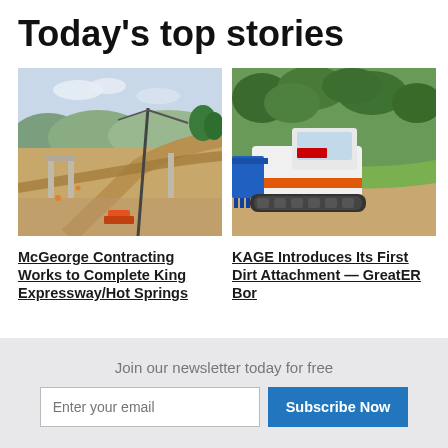Today's top stories
[Figure (photo): Aerial view of a construction site with a crane and earthworks, highway overpass under construction, mountains in background]
[Figure (photo): Bobcat compact track loader with blue KAGE dirt attachment working on a grassy slope near a bunker]
McGeorge Contracting Works to Complete King Expressway/Hot Springs
KAGE Introduces Its First Dirt Attachment — GreatER Bor
Join our newsletter today for free
Enter your email
Subscribe Now